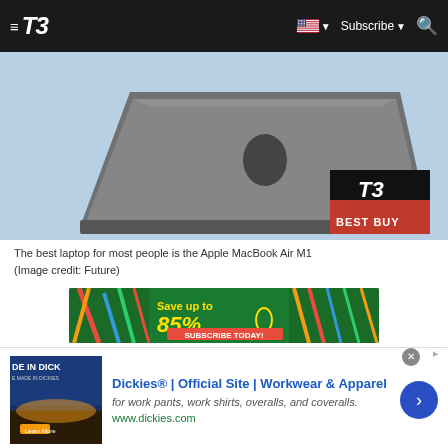T3 | Subscribe
[Figure (photo): Apple MacBook Air M1 laptop viewed from behind at an angle showing the Apple logo, on a light blue background. T3 Best Buy badge in bottom right corner.]
The best laptop for most people is the Apple MacBook Air M1
(Image credit: Future)
[Figure (infographic): Advertisement banner: Save up to 85% SUBSCRIBE TODAY! with pencils and school supplies on green background]
[Figure (infographic): Dickies advertisement: Dickies® | Official Site | Workwear & Apparel - for work pants, work shirts, overalls, and coveralls. www.dickies.com]